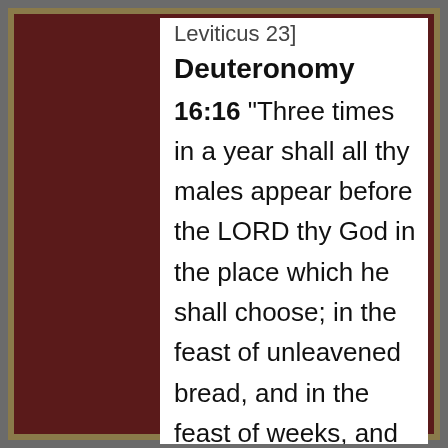Leviticus 23]
Deuteronomy
16:16 "Three times in a year shall all thy males appear before the LORD thy God in the place which he shall choose; in the feast of unleavened bread, and in the feast of weeks, and in the feast of tabernacles: and they shall not appear before the